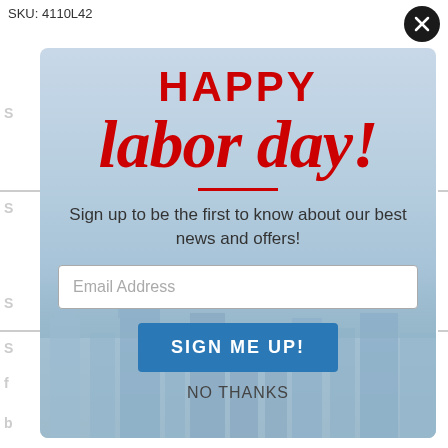SKU: 4110L42
[Figure (screenshot): Happy Labor Day promotional popup modal with city skyline background. Contains 'HAPPY' in bold red text, 'labor day!' in red italic script, a red divider line, sign-up text, email input field, 'SIGN ME UP!' button, and 'NO THANKS' link.]
Sign up to be the first to know about our best news and offers!
Email Address
SIGN ME UP!
NO THANKS